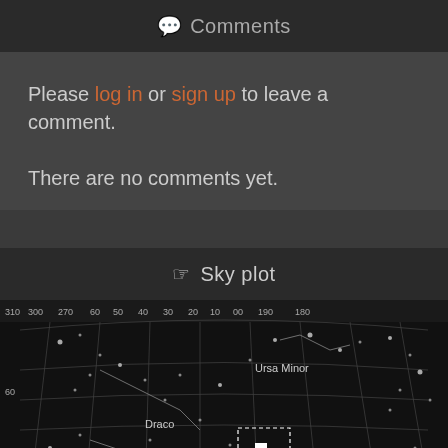Comments
Please log in or sign up to leave a comment.
There are no comments yet.
Sky plot
[Figure (map): Star chart / sky plot showing constellations including Ursa Minor, Draco, and Ursa Major with coordinate grid lines. A dashed rectangle marks a specific sky region. Coordinate labels along top: 310 300 270 60 50 40 30 20 10 00 190 180. Declination labels on left: 60, 50.]